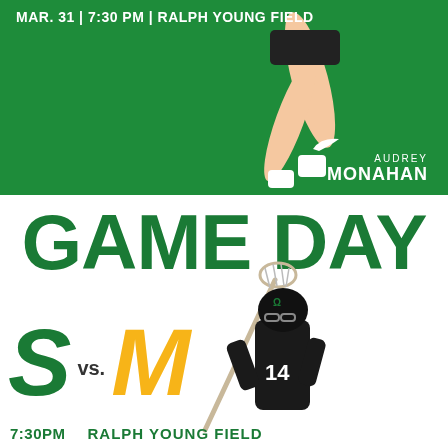[Figure (photo): Top green banner with athlete legs jumping (lacrosse player), Nike swoosh, text overlay with date MAR. 31 | 7:30 PM | RALPH YOUNG FIELD, and player name AUDREY MONAHAN]
GAME DAY
[Figure (photo): Lower half of page showing lacrosse player #14 in Spartan uniform holding stick, with S vs M matchup graphic and bottom info 7:30PM RALPH YOUNG FIELD]
S vs. M
7:30PM   RALPH YOUNG FIELD